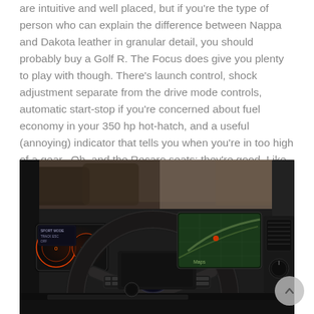are intuitive and well placed, but if you're the type of person who can explain the difference between Nappa and Dakota leather in granular detail, you should probably buy a Golf R. The Focus does give you plenty to play with though. There's launch control, shock adjustment separate from the drive mode controls, automatic start-stop if you're concerned about fuel economy in your 350 hp hot-hatch, and a useful (annoying) indicator that tells you when you're in too high of a gear.  Oh, and the Recaro seats: they're good. Like really good. Like, freaking perfect.
[Figure (photo): Interior photo of a Ford Focus RS showing the steering wheel with Ford logo, dashboard, instrument cluster with orange lighting, and center infotainment screen.]